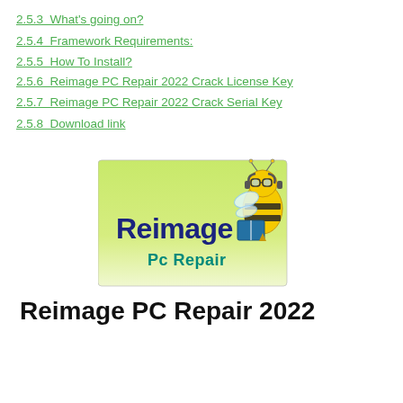2.5.3  What's going on?
2.5.4  Framework Requirements:
2.5.5  How To Install?
2.5.6  Reimage PC Repair 2022 Crack License Key
2.5.7  Reimage PC Repair 2022 Crack Serial Key
2.5.8  Download link
[Figure (logo): Reimage PC Repair logo with a cartoon bee wearing glasses and headphones, reading a book, over a green-to-white gradient background. Text: 'Reimage' in dark blue and 'Pc Repair' in teal.]
Reimage PC Repair 2022